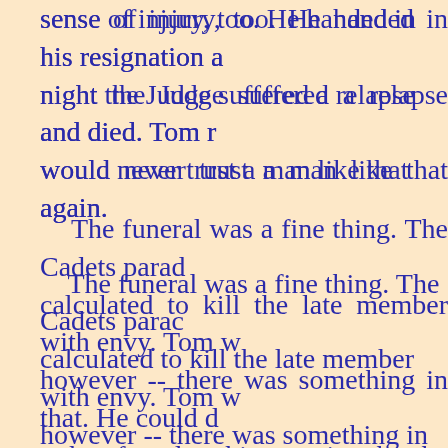sense of injury, too. He handed in his resignation a night the Judge suffered a relapse and died. Tom r would never trust a man like that again. The funeral was a fine thing. The Cadets parac calculated to kill the late member with envy. Tom w however -- there was something in that. He could d -- but found to his surprise that he did not want to. he could, took the desire away, and the charm of it Tom presently wondered to find that his covete beginning to hang a little heavily on his hands. He attempted a diary -- but nothing happened d and so he abandoned it. The first of all the negro minstrel shows came t